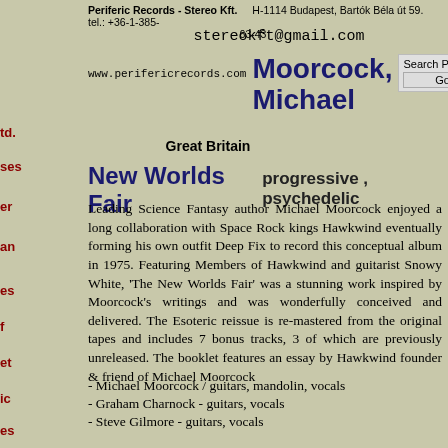Periferic Records - Stereo Kft.   H-1114 Budapest, Bartók Béla út 59.   tel.: +36-1-385-63-43
stereokft@gmail.com
www.perifericrecords.com
Moorcock, Michael
Great Britain
New Worlds Fair   progressive , psychedelic
Leading Science Fantasy author Michael Moorcock enjoyed a long collaboration with Space Rock kings Hawkwind eventually forming his own outfit Deep Fix to record this conceptual album in 1975. Featuring Members of Hawkwind and guitarist Snowy White, 'The New Worlds Fair' was a stunning work inspired by Moorcock's writings and was wonderfully conceived and delivered. The Esoteric reissue is re-mastered from the original tapes and includes 7 bonus tracks, 3 of which are previously unreleased. The booklet features an essay by Hawkwind founder & friend of Michael Moorcock
- Michael Moorcock / guitars, mandolin, vocals
- Graham Charnock - guitars, vocals
- Steve Gilmore - guitars, vocals